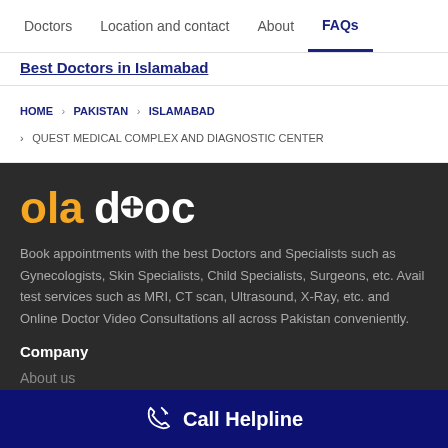Doctors | Location and contact | About | FAQs
Best Doctors in Islamabad
HOME > PAKISTAN > ISLAMABAD > QUEST MEDICAL COMPLEX AND DIAGNOSTIC CENTER
[Figure (logo): oladoc logo in orange and white on dark background]
Book appointments with the best Doctors and Specialists such as Gynecologists, Skin Specialists, Child Specialists, Surgeons, etc. Avail test services such as MRI, CT scan, Ultrasound, X-Ray, etc. and Online Doctor Video Consultations all across Pakistan conveniently.
Company
About us
Call Helpline